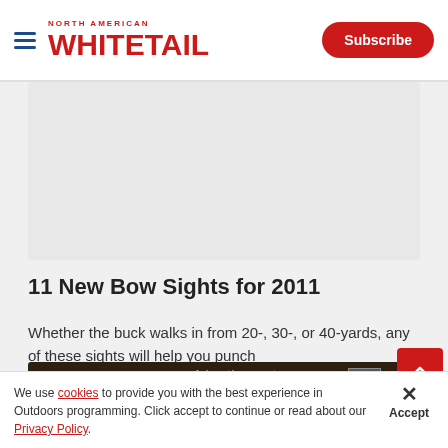North American Whitetail — Subscribe
[Figure (screenshot): Large blank/white advertisement placeholder area below the header]
11 New Bow Sights for 2011
Whether the buck walks in from 20-, 30-, or 40-yards, any of these sights will help you punch
Dou
[Figure (screenshot): Advertisement overlay: Way of Hunter game advertisement with TEEN rating and close button]
We use cookies to provide you with the best experience in Outdoors programming. Click accept to continue or read about our Privacy Policy.